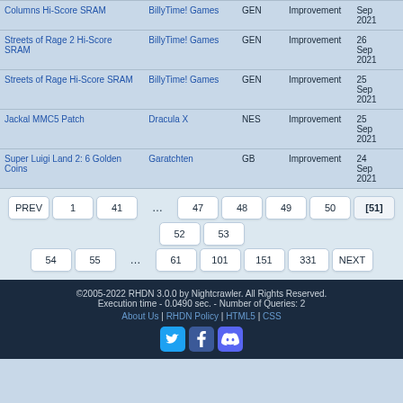| Name | Author | System | Type | Date |
| --- | --- | --- | --- | --- |
| Columns Hi-Score SRAM | BillyTime! Games | GEN | Improvement | Sep 2021 |
| Streets of Rage 2 Hi-Score SRAM | BillyTime! Games | GEN | Improvement | 26 Sep 2021 |
| Streets of Rage Hi-Score SRAM | BillyTime! Games | GEN | Improvement | 25 Sep 2021 |
| Jackal MMC5 Patch | Dracula X | NES | Improvement | 25 Sep 2021 |
| Super Luigi Land 2: 6 Golden Coins | Garatchten | GB | Improvement | 24 Sep 2021 |
Pagination: PREV 1 41 ... 47 48 49 50 [51] 52 53 54 55 ... 61 101 151 331 NEXT
©2005-2022 RHDN 3.0.0 by Nightcrawler. All Rights Reserved. Execution time - 0.0490 sec. - Number of Queries: 2 About Us | RHDN Policy | HTML5 | CSS